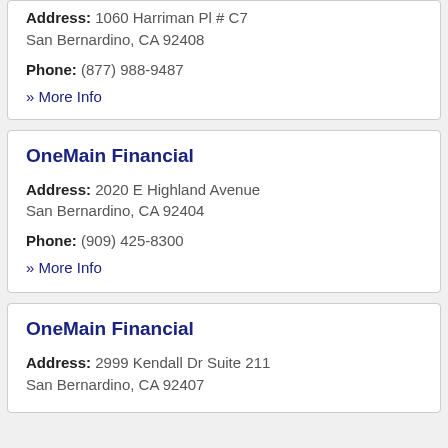Address: 1060 Harriman Pl # C7 San Bernardino, CA 92408
Phone: (877) 988-9487
» More Info
OneMain Financial
Address: 2020 E Highland Avenue San Bernardino, CA 92404
Phone: (909) 425-8300
» More Info
OneMain Financial
Address: 2999 Kendall Dr Suite 211 San Bernardino, CA 92407